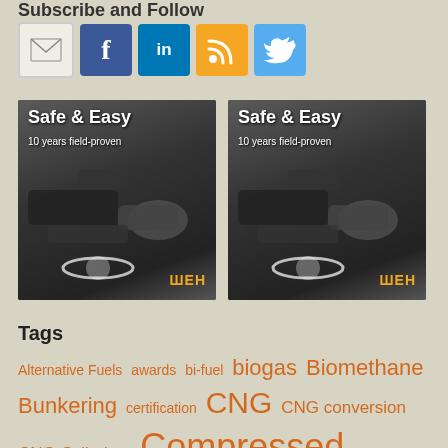Subscribe and Follow
[Figure (infographic): Social media icons: Email, Facebook, LinkedIn, RSS, Twitter]
[Figure (photo): Safe & Easy - 10 years field-proven banner ad with fueling nozzle, WEH logo (left)]
[Figure (photo): Safe & Easy - 10 years field-proven banner ad with fueling nozzle, WEH logo (right)]
Tags
Alternative Fuels awards bi-fuel biogas Biomethane Bunkering certification CNG CNG conversion CNG Cylinders Compressed Natural Gas conference dual-fuel emissions Engine Fleets Ford fueling stations funding GHG HD Vehicles